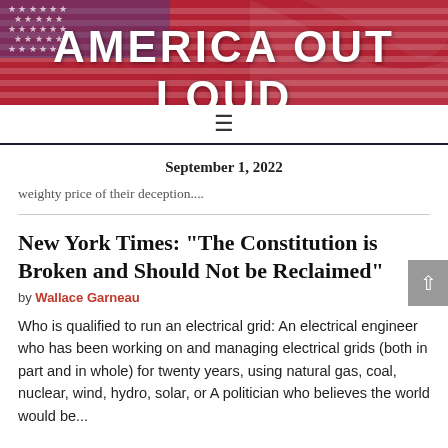AMERICA OUT LOUD
September 1, 2022
weighty price of their deception....
New York Times: “The Constitution is Broken and Should Not be Reclaimed”
by Wallace Garneau
Who is qualified to run an electrical grid: An electrical engineer who has been working on and managing electrical grids (both in part and in whole) for twenty years, using natural gas, coal, nuclear, wind, hydro, solar, or A politician who believes the world would be...